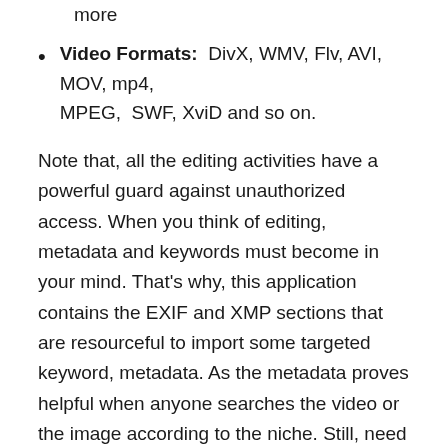Image Formats: TIFF, PNG, GIF, JPEG, EPS, AI and more
Video Formats: DivX, WMV, Flv, AVI, MOV, mp4, MPEG, SWF, XviD and so on.
Note that, all the editing activities have a powerful guard against unauthorized access. When you think of editing, metadata and keywords must become in your mind. That’s why, this application contains the EXIF and XMP sections that are resourceful to import some targeted keyword, metadata. As the metadata proves helpful when anyone searches the video or the image according to the niche. Still, need the more function? However, Phototheca Serial Key comes with the one click sharing to the most well know social websites. Some of them are Twitter, Youtube, Facebook, Flickr, email, Pinterest and